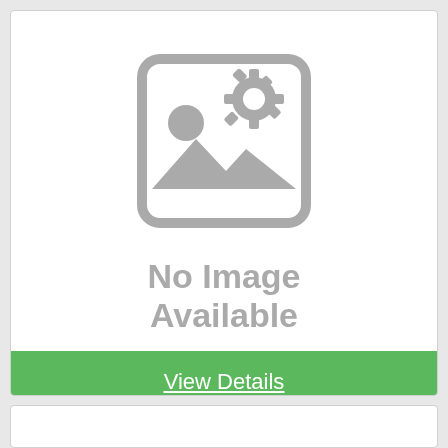[Figure (illustration): No Image Available placeholder icon with two gears and a mountain/image icon in gray]
No Image Available
View Details
SHARP KCP110UW
Model #KCP110UW